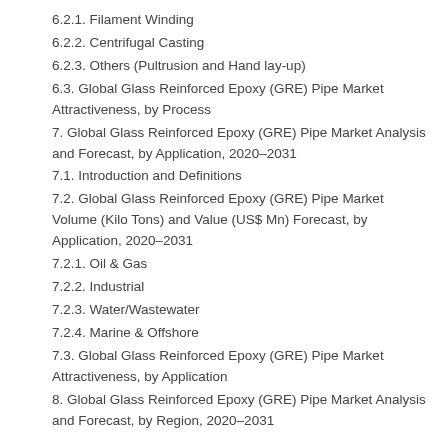6.2.1. Filament Winding
6.2.2. Centrifugal Casting
6.2.3. Others (Pultrusion and Hand lay-up)
6.3. Global Glass Reinforced Epoxy (GRE) Pipe Market Attractiveness, by Process
7. Global Glass Reinforced Epoxy (GRE) Pipe Market Analysis and Forecast, by Application, 2020–2031
7.1. Introduction and Definitions
7.2. Global Glass Reinforced Epoxy (GRE) Pipe Market Volume (Kilo Tons) and Value (US$ Mn) Forecast, by Application, 2020–2031
7.2.1. Oil & Gas
7.2.2. Industrial
7.2.3. Water/Wastewater
7.2.4. Marine & Offshore
7.3. Global Glass Reinforced Epoxy (GRE) Pipe Market Attractiveness, by Application
8. Global Glass Reinforced Epoxy (GRE) Pipe Market Analysis and Forecast, by Region, 2020–2031